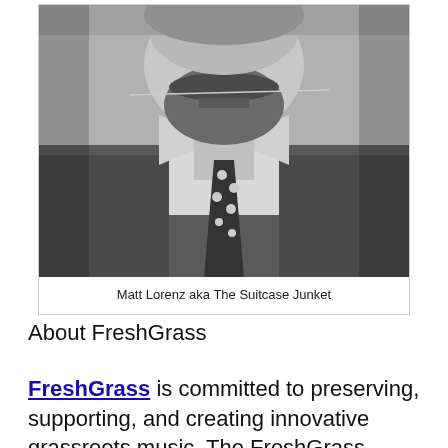[Figure (photo): Black and white close-up photo of a bearded man with a large mustache wearing a polka-dot tie and suit jacket, holding a string or wire between his teeth.]
Matt Lorenz aka The Suitcase Junket
About FreshGrass
FreshGrass is committed to preserving, supporting, and creating innovative grassroots music. The FreshGrass Foundation, which co-